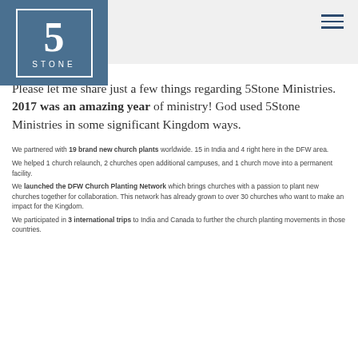[Figure (logo): 5Stone Ministries logo: a blue-grey square with a large '5' and 'STONE' text inside a white border rectangle]
Please let me share just a few things regarding 5Stone Ministries.  2017 was an amazing year of ministry!  God used 5Stone Ministries in some significant Kingdom ways.
We partnered with 19 brand new church plants worldwide.  15 in India and 4 right here in the DFW area.
We helped 1 church relaunch, 2 churches open additional campuses, and 1 church move into a permanent facility.
We launched the DFW Church Planting Network which brings churches with a passion to plant new churches together for collaboration.  This network has already grown to over 30 churches who want to make an impact for the Kingdom.
We participated in 3 international trips to India and Canada to further the church planting movements in those countries.